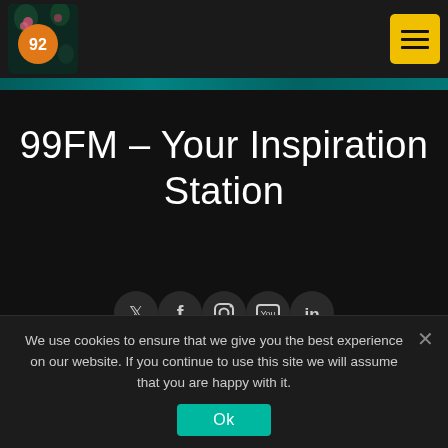99FM logo and navigation menu
99FM – Your Inspiration Station
[Figure (infographic): Social media icons row: Twitter, Facebook, Instagram, YouTube, LinkedIn — dark circular buttons]
We use cookies to ensure that we give you the best experience on our website. If you continue to use this site we will assume that you are happy with it.
Ok